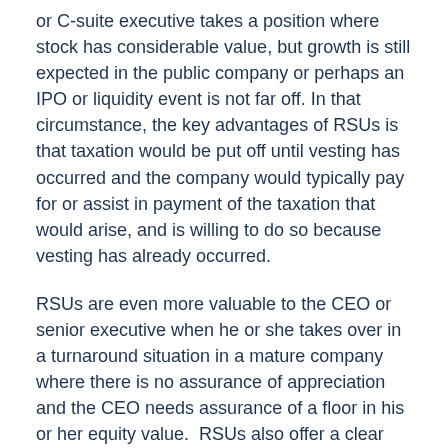or C-suite executive takes a position where stock has considerable value, but growth is still expected in the public company or perhaps an IPO or liquidity event is not far off. In that circumstance, the key advantages of RSUs is that taxation would be put off until vesting has occurred and the company would typically pay for or assist in payment of the taxation that would arise, and is willing to do so because vesting has already occurred.
RSUs are even more valuable to the CEO or senior executive when he or she takes over in a turnaround situation in a mature company where there is no assurance of appreciation and the CEO needs assurance of a floor in his or her equity value.  RSUs also offer a clear advantage over stock options to CEOs and C-Suite executives because RSUs after vesting always retain some value. RSUs effectively have a floor on value. They can never go underwater and become worthless as often happens with stock options.